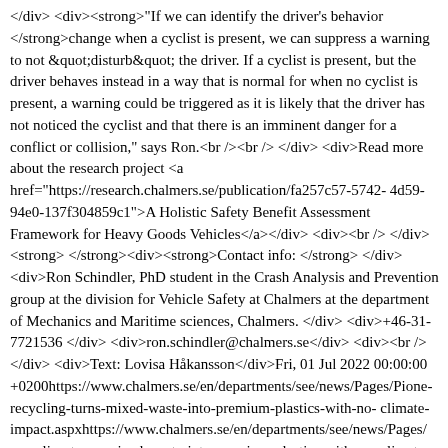</div> <div><strong>"If we can identify the driver's behavior </strong>change when a cyclist is present, we can suppress a warning to not &quot;disturb&quot; the driver. If a cyclist is present, but the driver behaves instead in a way that is normal for when no cyclist is present, a warning could be triggered as it is likely that the driver has not noticed the cyclist and that there is an imminent danger for a conflict or collision," says Ron.<br /><br /> </div> <div>Read more about the research project <a href="https://research.chalmers.se/publication/fa257c57-5742-4d59-94e0-137f304859c1">A Holistic Safety Benefit Assessment Framework for Heavy Goods Vehicles</a></div> <div><br /> </div> <strong> </strong><div><strong>Contact info: </strong></div> <div>Ron Schindler, PhD student in the Crash Analysis and Prevention group at the division for Vehicle Safety at Chalmers at the department of Mechanics and Maritime sciences, Chalmers. </div> <div>+46-31-7721536 </div> <div>ron.schindler@chalmers.se</div> <div><br /></div> <div>Text: Lovisa Håkansson</div>Fri, 01 Jul 2022 00:00:00 +0200https://www.chalmers.se/en/departments/see/news/Pages/Pioneer-recycling-turns-mixed-waste-into-premium-plastics-with-no-climate-impact.aspxhttps://www.chalmers.se/en/departments/see/news/Pages/recycling-turns-mixed-waste-into-premium-plastics-with-no-climate-impact.aspx<p><b>Only a fraction of the material that could be turned into new plastic is currently recycled. Researchers